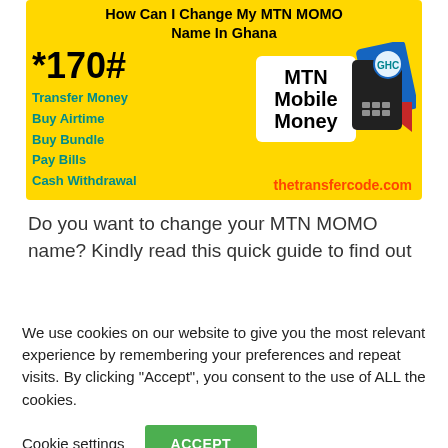[Figure (infographic): MTN Mobile Money Ghana banner in yellow background showing *170# USSD code, menu items (Transfer Money, Buy Airtime, Buy Bundle, Pay Bills, Cash Withdrawal), MTN Mobile Money logo with GHC card graphic, and thetransfercode.com website]
Do you want to change your MTN MOMO name? Kindly read this quick guide to find out
We use cookies on our website to give you the most relevant experience by remembering your preferences and repeat visits. By clicking “Accept”, you consent to the use of ALL the cookies.
Cookie settings | ACCEPT